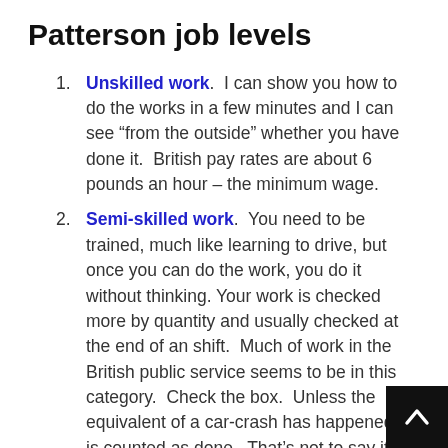Patterson job levels
Unskilled work.  I can show you how to do the works in a few minutes and I can see “from the outside” whether you have done it.  British pay rates are about 6 pounds an hour – the minimum wage.
Semi-skilled work.  You need to be trained, much like learning to drive, but once you can do the work, you do it without thinking. Your work is checked more by quantity and usually checked at the end of an shift.  Much of work in the British public service seems to be in this category.  Check the box.  Unless the equivalent of a car-crash has happened, it is counted as done.  That’s not to say it is not important.  It’s very important.  It’s simply done at this level of